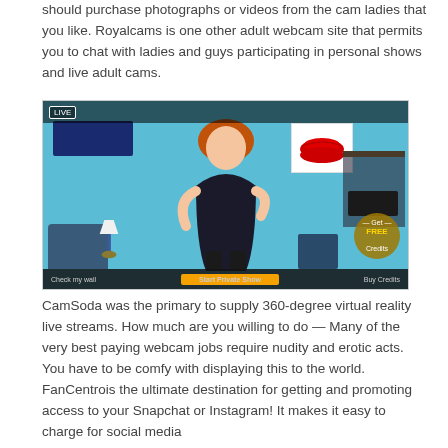should purchase photographs or videos from the cam ladies that you like. Royalcams is one other adult webcam site that permits you to chat with ladies and guys participating in personal shows and live adult cams.
[Figure (photo): Screenshot of an adult webcam site showing a woman in black lingerie in a blue-decorated room, with site interface elements including a yellow 'Start Private Show' button and a 'Get Free Credits' badge.]
CamSoda was the primary to supply 360-degree virtual reality live streams. How much are you willing to do — Many of the very best paying webcam jobs require nudity and erotic acts. You have to be comfy with displaying this to the world. FanCentrois the ultimate destination for getting and promoting access to your Snapchat or Instagram! It makes it easy to charge for social media